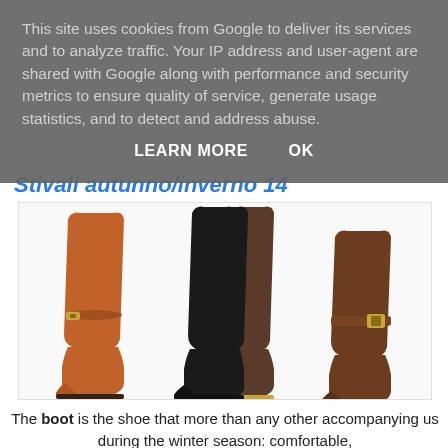This site uses cookies from Google to deliver its services and to analyze traffic. Your IP address and user-agent are shared with Google along with performance and security metrics to ensure quality of service, generate usage statistics, and to detect and address abuse.
LEARN MORE    OK
Stivali autunno/inverno 14
[Figure (photo): Three tall leather boots shown side by side: an orange/tan over-the-knee boot on the left, a black and dark brown over-the-knee boot in the center, and a dark brown knee-high boot with a buckle on the right.]
The boot is the shoe that more than any other accompanying us during the winter season: comfortable,